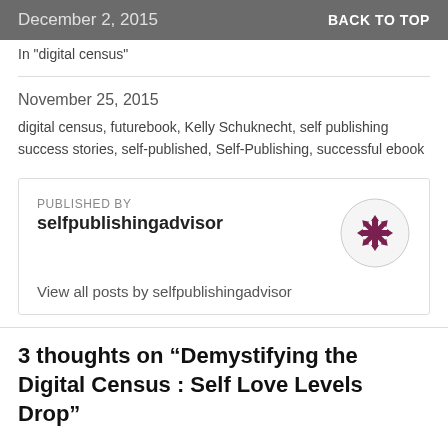December 2, 2015   BACK TO TOP
In "digital census"
November 25, 2015
digital census, futurebook, Kelly Schuknecht, self publishing success stories, self-published, Self-Publishing, successful ebook
PUBLISHED BY selfpublishingadvisor
View all posts by selfpublishingadvisor
3 thoughts on “Demystifying the Digital Census : Self Love Levels Drop”